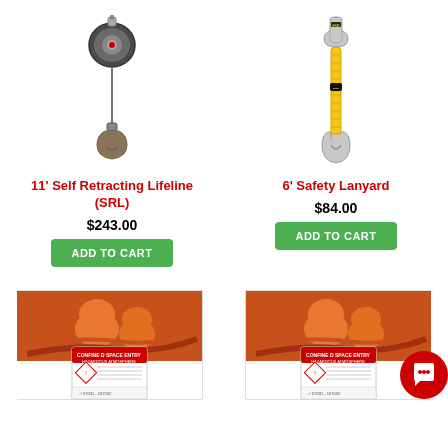[Figure (photo): 11 foot Self Retracting Lifeline (SRL) product image showing a compact retractable device with a hook at the bottom]
[Figure (photo): 6 foot Safety Lanyard product image showing a yellow braided lanyard with carabiners at each end]
11' Self Retracting Lifeline (SRL)
$243.00
ADD TO CART
6' Safety Lanyard
$84.00
ADD TO CART
[Figure (photo): Training course card showing workers in orange safety gear handling industrial hoses, with a GHS hazardous materials label card in the foreground]
[Figure (photo): Training course card showing workers in orange safety gear handling industrial hoses, with a GHS hazardous materials label card in the foreground, similar to the left card]